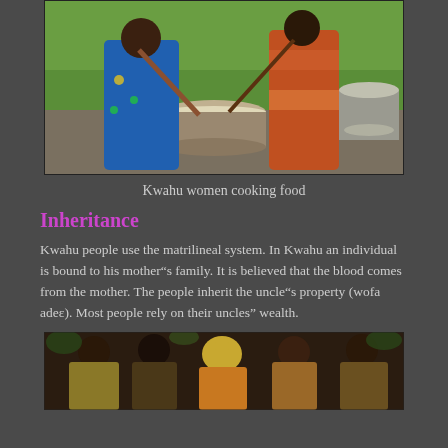[Figure (photo): Two Kwahu women cooking food outdoors over a large pot on an open fire, standing on green grass]
Kwahu women cooking food
Inheritance
Kwahu people use the matrilineal system. In Kwahu an individual is bound to his mother"s family. It is believed that the blood comes from the mother. The people inherit the uncle"s property (wofa adeε). Most people rely on their uncles" wealth.
[Figure (photo): A group of Kwahu people in traditional clothing attending a ceremony]